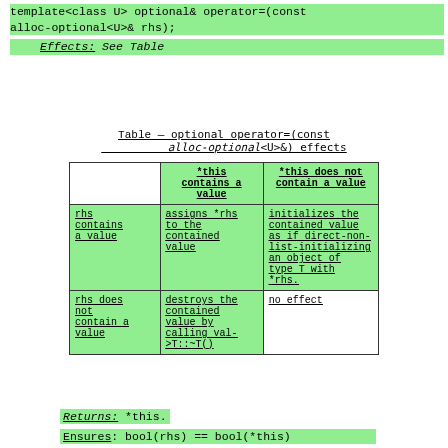template<class U> optional& operator=(const alloc-optional<U>& rhs);
Effects: See Table
Table — optional operator=(const alloc-optional<U>&) effects
|  | *this contains a value | *this does not contain a value |
| --- | --- | --- |
| rhs contains a value | assigns *rhs to the contained value | initializes the contained value as if direct-non-list-initializing an object of type T with *rhs. |
| rhs does not contain a value | destroys the contained value by calling val->T::~T() | no effect |
Returns: *this.
Ensures: bool(rhs) == bool(*this)